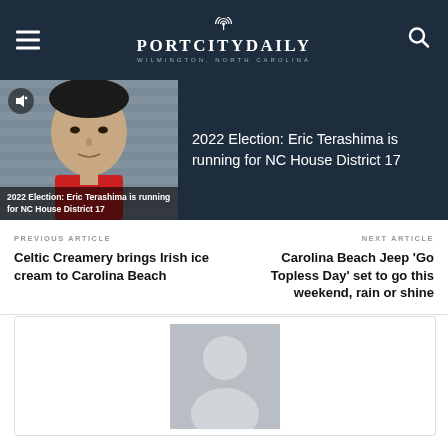PortCityDaily — Wilmington, North Carolina
[Figure (photo): Photo of Eric Terashima with text overlay: 2022 Election: Eric Terashima is running for NC House District 17]
2022 Election: Eric Terashima is running for NC House District 17
PREVIOUS ARTICLE
Celtic Creamery brings Irish ice cream to Carolina Beach
NEXT ARTICLE
Carolina Beach Jeep 'Go Topless Day' set to go this weekend, rain or shine
[Figure (photo): Default author avatar placeholder — grey silhouette of a person on grey background]